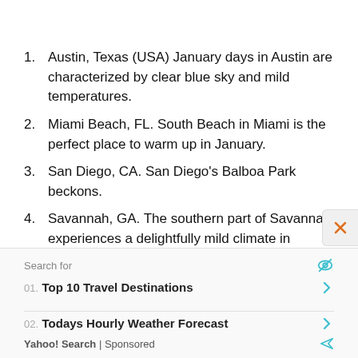1. Austin, Texas (USA) January days in Austin are characterized by clear blue sky and mild temperatures.
2. Miami Beach, FL. South Beach in Miami is the perfect place to warm up in January.
3. San Diego, CA. San Diego's Balboa Park beckons.
4. Savannah, GA. The southern part of Savannah experiences a delightfully mild climate in January.
Search for
01.  Top 10 Travel Destinations
02.  Todays Hourly Weather Forecast
Yahoo! Search | Sponsored